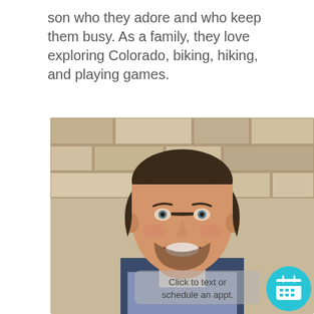son who they adore and who keep them busy. As a family, they love exploring Colorado, biking, hiking, and playing games.
[Figure (photo): Headshot of a smiling man with short dark hair and a beard, wearing a navy blazer and striped shirt, standing in front of a stone wall background. A UI overlay reads 'Click to text or schedule an appt.' with a teal calendar icon button.]